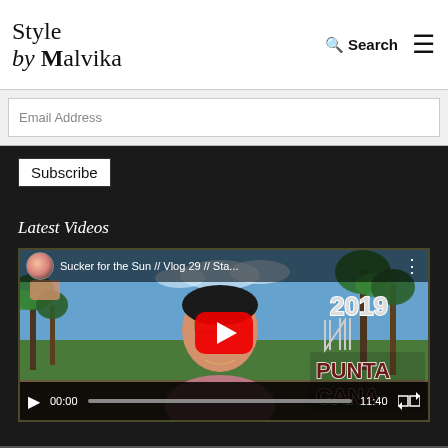Style by Malvika — Search — Menu
Email Address
Subscribe
Latest Videos
[Figure (screenshot): YouTube video embed showing 'Sucker for the Sun // Vlog 29 // Sta...' thumbnail with a woman wearing sunglasses and a tropical background with palm trees, text overlay '2019 PUNTA CANA', YouTube play button in center, video controls showing 00:00 / 11:40]